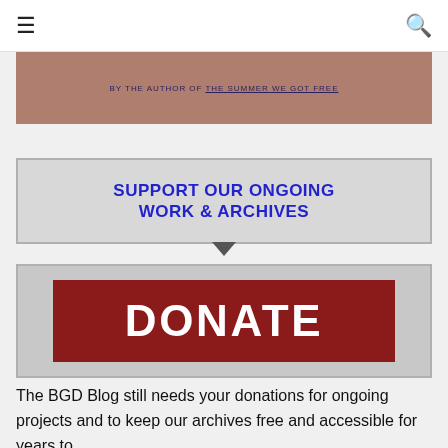☰  🔍
[Figure (illustration): Partial book cover showing text: BY THE AUTHOR of THE SUMMER WE GOT FREE on a brownish-pink background]
SUPPORT OUR ONGOING WORK & ARCHIVES
[Figure (other): Red donate button with white text reading DONATE on a gray background]
The BGD Blog still needs your donations for ongoing projects and to keep our archives free and accessible for years to